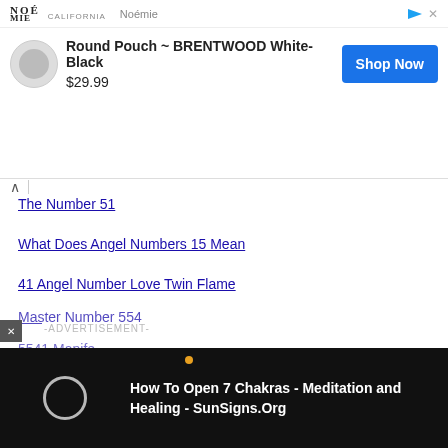[Figure (screenshot): Noémie brand advertisement banner showing 'Round Pouch ~ BRENTWOOD White-Black' priced at $29.99 with a 'Shop Now' button]
The Number 51
What Does Angel Numbers 15 Mean
41 Angel Number Love Twin Flame
Master Number 554
-ADVERTISEMENT-
[Figure (screenshot): Video overlay on dark background showing 'How To Open 7 Chakras - Meditation and Healing - SunSigns.Org' with circular loading icon]
5541 Manifestation
What D...
[Figure (screenshot): Bottom advertisement banner showing 'Download Helbiz and ride' with scooter image]